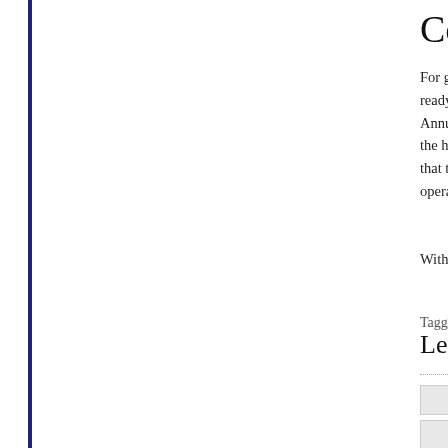Colem…
For gas optio… ready, up to f… Annual Fuel … the heat. The … that these fur… operates with…
With a variet…
Tagged as: cole…
Leave a Co…
[form inputs]